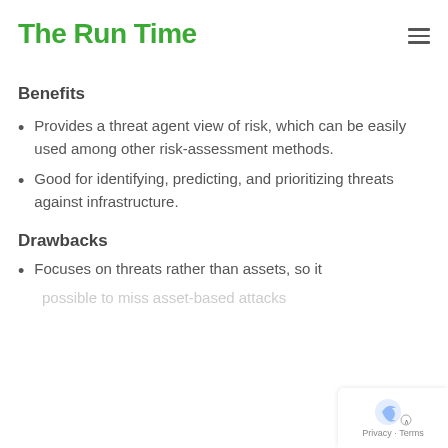The Run Time
Benefits
Provides a threat agent view of risk, which can be easily used among other risk-assessment methods.
Good for identifying, predicting, and prioritizing threats against infrastructure.
Drawbacks
Focuses on threats rather than assets, so it [possible to miss asset-based attacks]